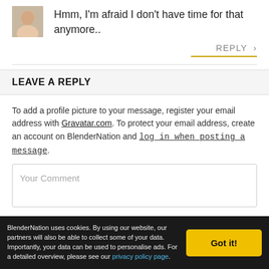Hmm, I'm afraid I don't have time for that anymore..
REPLY ›
LEAVE A REPLY
To add a profile picture to your message, register your email address with Gravatar.com. To protect your email address, create an account on BlenderNation and log in when posting a message.
Your Comment
BlenderNation uses cookies. By using our website, our partners will also be able to collect some of your data. Importantly, your data can be used to personalise ads. For a detailed overview, please see our privacy policy page.